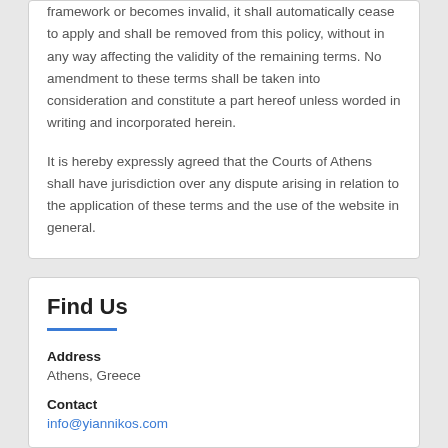framework or becomes invalid, it shall automatically cease to apply and shall be removed from this policy, without in any way affecting the validity of the remaining terms. No amendment to these terms shall be taken into consideration and constitute a part hereof unless worded in writing and incorporated herein.
It is hereby expressly agreed that the Courts of Athens shall have jurisdiction over any dispute arising in relation to the application of these terms and the use of the website in general.
Find Us
Address
Athens, Greece
Contact
info@yiannikos.com